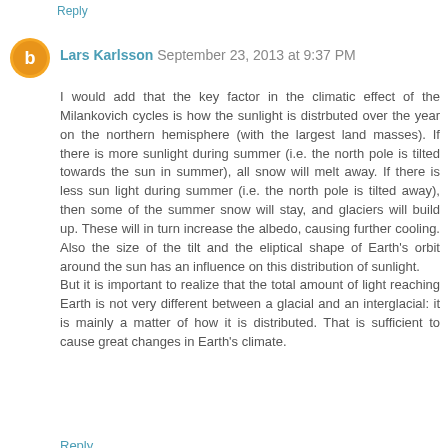Reply
Lars Karlsson  September 23, 2013 at 9:37 PM
I would add that the key factor in the climatic effect of the Milankovich cycles is how the sunlight is distrbuted over the year on the northern hemisphere (with the largest land masses). If there is more sunlight during summer (i.e. the north pole is tilted towards the sun in summer), all snow will melt away. If there is less sun light during summer (i.e. the north pole is tilted away), then some of the summer snow will stay, and glaciers will build up. These will in turn increase the albedo, causing further cooling. Also the size of the tilt and the eliptical shape of Earth's orbit around the sun has an influence on this distribution of sunlight.
But it is important to realize that the total amount of light reaching Earth is not very different between a glacial and an interglacial: it is mainly a matter of how it is distributed. That is sufficient to cause great changes in Earth's climate.
Reply